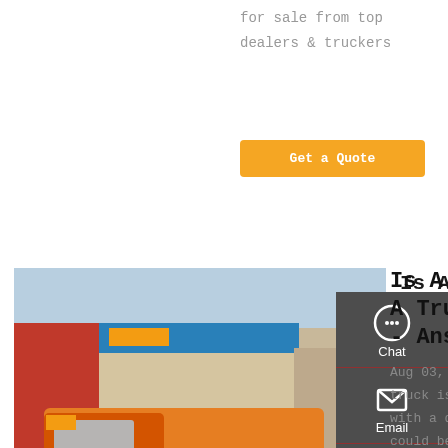for sale from top dealers & truckers
Get a Quote
[Figure (photo): Orange HOWO truck tractor parked at a dealership with blue and red signage in the background]
Is A Dump Truck A Truck Tractor? - Answers
Aug 03, 2010 · A dump truck is simply a truck with a dump body - it could be a side dump, belly dump, or end dump. An end dump dumps out of the rear. "End dump" …
[Figure (infographic): Sidebar with Chat, Email, Contact, and Top navigation icons on dark background]